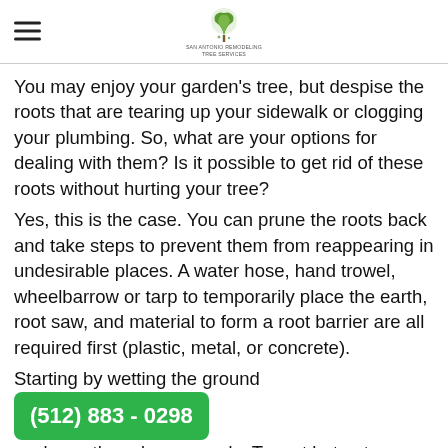[Logo: tree service company with hamburger menu]
You may enjoy your garden’s tree, but despise the roots that are tearing up your sidewalk or clogging your plumbing. So, what are your options for dealing with them? Is it possible to get rid of these roots without hurting your tree?
Yes, this is the case. You can prune the roots back and take steps to prevent them from reappearing in undesirable places. A water hose, hand trowel, wheelbarrow or tarp to temporarily place the earth, root saw, and material to form a root barrier are all required first (plastic, metal, or concrete).
Starting by wetting the ground you’ve gathered your goods. Th wet but not waterlogged. After that, loosen the dirt
[Figure (other): Green call-to-action button with phone number (512) 883 - 0298]